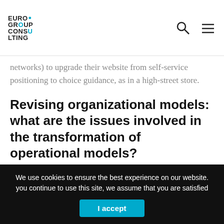EUROGROUP CONSULTING
networks) to upgrade their website from self-service positioning to choice guidance, as in a high-street store.
Revising organizational models: what are the issues involved in the transformation of operational models?
Beyond the changes perceived by the customer, all these developments result in a need for retailers to question their operational models on several points
We use cookies to ensure the best experience on our website. you continue to use this site, we assume that you are satisfied